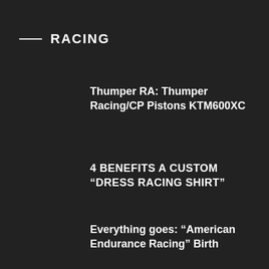RACING
Thumper RA: Thumper Racing/CP Pistons KTM600XC
4 BENEFITS A CUSTOM “DRESS RACING SHIRT”
Everything goes: “American Endurance Racing” Birth